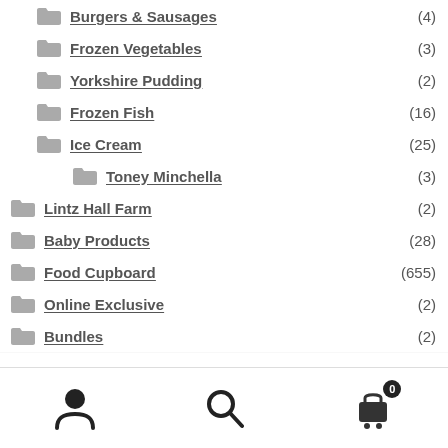Burgers & Sausages (4)
Frozen Vegetables (3)
Yorkshire Pudding (2)
Frozen Fish (16)
Ice Cream (25)
Toney Minchella (3)
Lintz Hall Farm (2)
Baby Products (28)
Food Cupboard (655)
Online Exclusive (2)
Bundles (2)
Navigation bar with user, search, and cart (0) icons